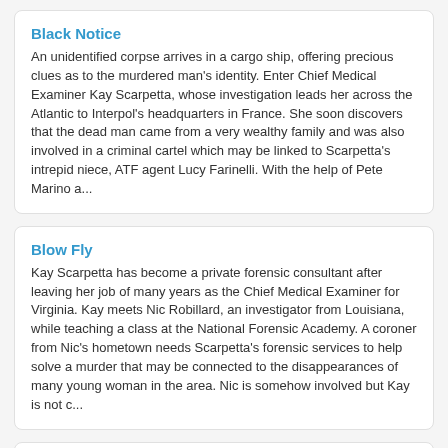Black Notice
An unidentified corpse arrives in a cargo ship, offering precious clues as to the murdered man's identity. Enter Chief Medical Examiner Kay Scarpetta, whose investigation leads her across the Atlantic to Interpol's headquarters in France. She soon discovers that the dead man came from a very wealthy family and was also involved in a criminal cartel which may be linked to Scarpetta's intrepid niece, ATF agent Lucy Farinelli. With the help of Pete Marino a...
Blow Fly
Kay Scarpetta has become a private forensic consultant after leaving her job of many years as the Chief Medical Examiner for Virginia. Kay meets Nic Robillard, an investigator from Louisiana, while teaching a class at the National Forensic Academy. A coroner from Nic's hometown needs Scarpetta's forensic services to help solve a murder that may be connected to the disappearances of many young woman in the area. Nic is somehow involved but Kay is not c...
Body of Evidence
An author, Beryl Madison, ends up in the Chief Medical Examiner's office as a patient. Her death seems to revolve around the manuscript she was writing which is now missing. Kay Scarpetta finds herself experiencing what Beryl lived her last days. She is being